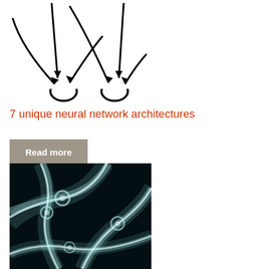[Figure (illustration): Black and white line drawing diagram of neural network node connections with arrows pointing to circular nodes, showing two nodes with multiple converging arrows]
7 unique neural network architectures
Read more
[Figure (photo): Close-up photograph of glowing neural network structures on dark background, showing interconnected neuron cells with bright blue-white light]